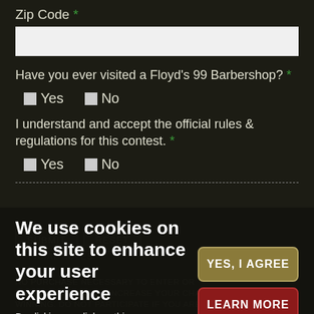Zip Code *
Have you ever visited a Floyd's 99 Barbershop? *
☐ Yes   ☐ No
I understand and accept the official rules & regulations for this contest. *
☐ Yes   ☐ No
We use cookies on this site to enhance your user experience
By clicking any link on this page you are giving your consent for us to set cookies.
OFFICIAL RULES
NO PURCHASE NECESSARY TO ENTER OR
PURCHASE WILL NOT INCREASE YOUR CHANCES OF
WINNING. DO NOT PARTICIPATE IF YOU ARE NOT